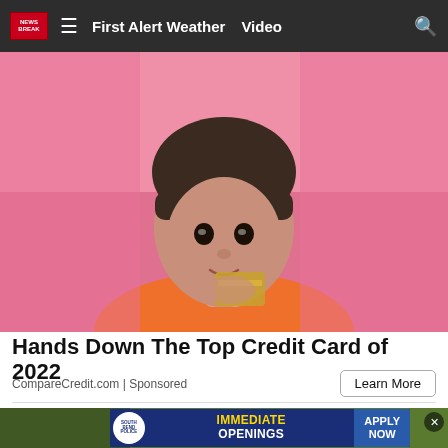First Alert Weather  Video
[Figure (photo): Young woman with dark hair and bangs holding a gold credit card near her face, against a pink background, wearing an orange top]
Hands Down The Top Credit Card of 2022
CompareCredit.com | Sponsored
Learn More
[Figure (photo): Bottom partial banner ad: South Bend Police badge with text IMMEDIATE OPENINGS APPLY NOW on blue background, over a green outdoor scene]